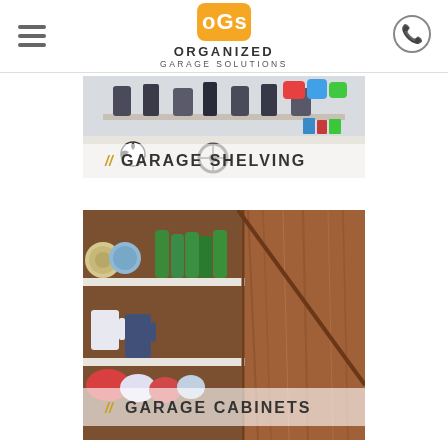Organized Garage Solutions
[Figure (photo): Garage shelving photo with items stored on shelves, overlaid with label 'GARAGE SHELVING']
[Figure (photo): Garage cabinets photo showing interior shelving with cans and items next to wood-finish cabinet doors, overlaid with label 'GARAGE CABINETS']